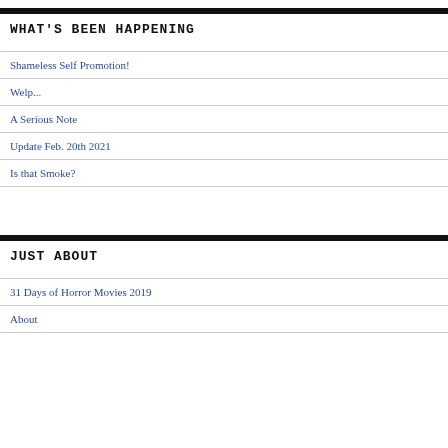WHAT'S BEEN HAPPENING
Shameless Self Promotion!
Welp...
A Serious Note
Update Feb. 20th 2021
Is that Smoke?
JUST ABOUT
31 Days of Horror Movies 2019
About